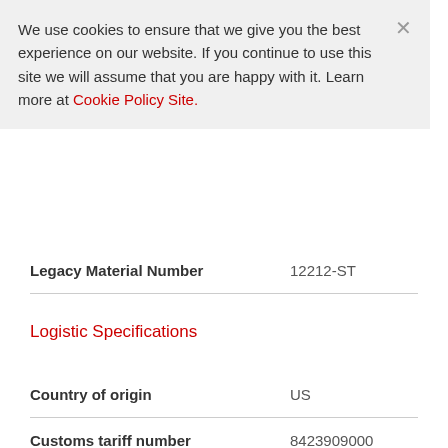We use cookies to ensure that we give you the best experience on our website. If you continue to use this site we will assume that you are happy with it. Learn more at Cookie Policy Site.
| Field | Value |
| --- | --- |
| Legacy Material Number | 12212-ST |
Logistic Specifications
| Field | Value |
| --- | --- |
| Country of origin | US |
| Customs tariff number | 8423909000 |